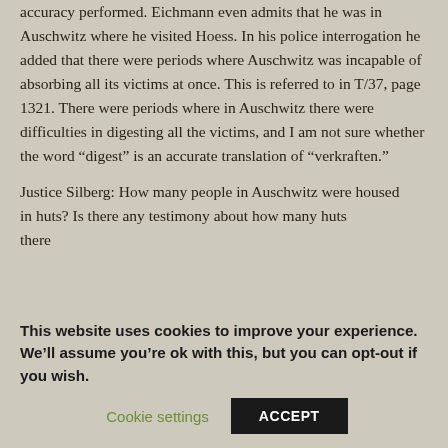accuracy performed. Eichmann even admits that he was in Auschwitz where he visited Hoess. In his police interrogation he added that there were periods where Auschwitz was incapable of absorbing all its victims at once. This is referred to in T/37, page 1321. There were periods where in Auschwitz there were difficulties in digesting all the victims, and I am not sure whether the word “digest” is an accurate translation of “verkraften.”
Justice Silberg: How many people in Auschwitz were housed in huts? Is there any testimony about how many huts there
This website uses cookies to improve your experience. We’ll assume you’re ok with this, but you can opt-out if you wish.